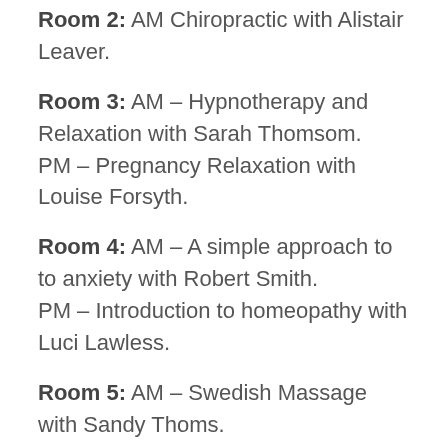Room 2: AM Chiropractic with Alistair Leaver.
Room 3: AM – Hypnotherapy and Relaxation with Sarah Thomsom. PM – Pregnancy Relaxation with Louise Forsyth.
Room 4: AM – A simple approach to to anxiety with Robert Smith. PM – Introduction to homeopathy with Luci Lawless.
Room 5: AM – Swedish Massage with Sandy Thoms. PM – Annmarie Thomson.